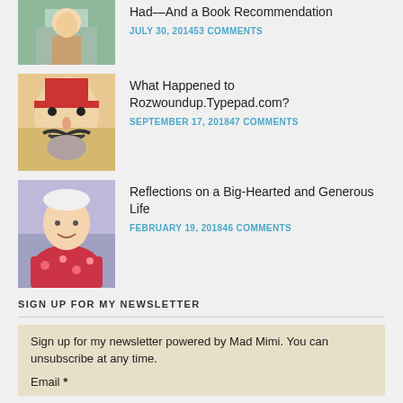[Figure (photo): Partial view of a person drawing/illustration at the top of the page]
Had—And a Book Recommendation
JULY 30, 2014   53 COMMENTS
[Figure (photo): Colorful painting of a man with mustache wearing a red hat]
What Happened to Rozwoundup.Typepad.com?
SEPTEMBER 17, 2018   47 COMMENTS
[Figure (photo): Elderly woman in red floral jacket smiling, seated in wheelchair]
Reflections on a Big-Hearted and Generous Life
FEBRUARY 19, 2018   46 COMMENTS
SIGN UP FOR MY NEWSLETTER
Sign up for my newsletter powered by Mad Mimi. You can unsubscribe at any time.
Email *